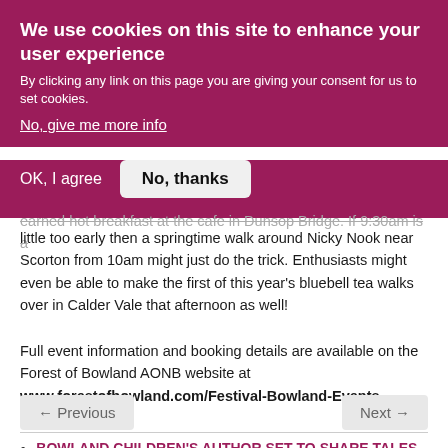We use cookies on this site to enhance your user experience
By clicking any link on this page you are giving your consent for us to set cookies.
No, give me more info
OK, I agree   No, thanks
earned hot breakfast at the cafe in Dunsop Bridge. If 9:30am is a little too early then a springtime walk around Nicky Nook near Scorton from 10am might just do the trick. Enthusiasts might even be able to make the first of this year's bluebell tea walks over in Calder Vale that afternoon as well!
Full event information and booking details are available on the Forest of Bowland AONB website at www.forestofbowland.com/Festival-Bowland-Events
← Previous   Next →
BOWLAND CHILDREN'S AUTHOR SET TO SHARE TALES